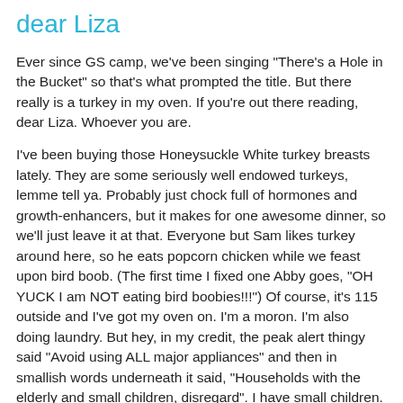dear Liza
Ever since GS camp, we've been singing "There's a Hole in the Bucket" so that's what prompted the title. But there really is a turkey in my oven. If you're out there reading, dear Liza. Whoever you are.
I've been buying those Honeysuckle White turkey breasts lately. They are some seriously well endowed turkeys, lemme tell ya. Probably just chock full of hormones and growth-enhancers, but it makes for one awesome dinner, so we'll just leave it at that. Everyone but Sam likes turkey around here, so he eats popcorn chicken while we feast upon bird boob. (The first time I fixed one Abby goes, "OH YUCK I am NOT eating bird boobies!!!") Of course, it's 115 outside and I've got my oven on. I'm a moron. I'm also doing laundry. But hey, in my credit, the peak alert thingy said "Avoid using ALL major appliances" and then in smallish words underneath it said, "Households with the elderly and small children, disregard". I have small children. I'm disregarding. Hey, it's either do laundry or we all go naked tomorrow. I know that it probably means only to use